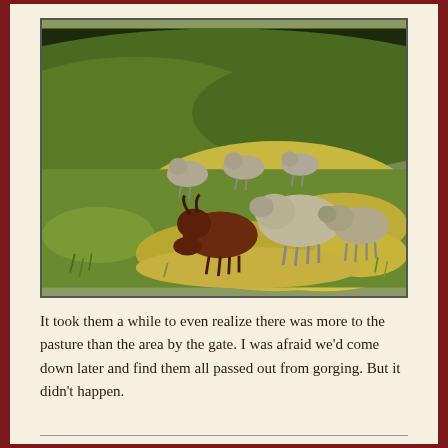[Figure (photo): Sheep and goats grazing on a green hillside pasture with trees in the background. Several animals are visible, including a dark reddish-brown horned animal in the foreground and multiple sheep in various positions across the grassy slope.]
It took them a while to even realize there was more to the pasture than the area by the gate. I was afraid we'd come down later and find them all passed out from gorging. But it didn't happen.